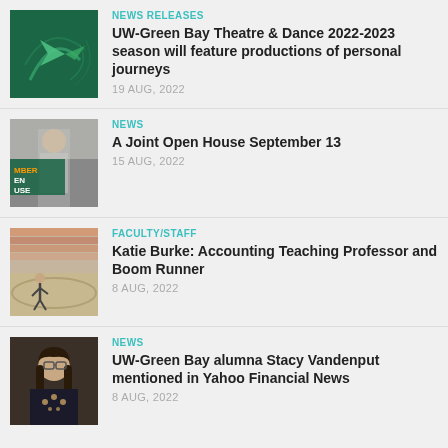[Figure (photo): Green UW-Green Bay logo image on dark green background with geometric shapes]
NEWS RELEASES
UW-Green Bay Theatre & Dance 2022-2023 season will feature productions of personal journeys
19 AUG, 2022
[Figure (photo): Man in suit shaking hands, open house event banner overlay]
NEWS
A Joint Open House September 13
15 AUG, 2022
[Figure (photo): Runner on track at outdoor athletic event with crowd]
FACULTY/STAFF
Katie Burke: Accounting Teaching Professor and Boom Runner
8 AUG, 2022
[Figure (photo): Woman with glasses and long dark hair wearing decorated jacket]
NEWS
UW-Green Bay alumna Stacy Vandenput mentioned in Yahoo Financial News
8 AUG, 2022